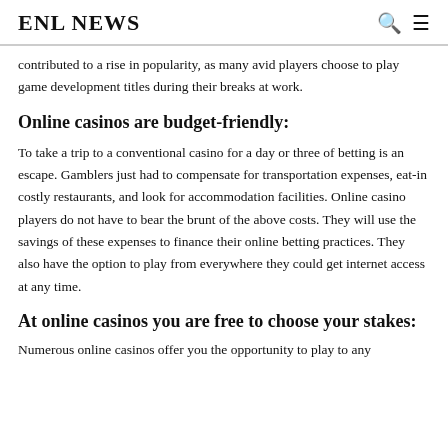ENL NEWS
contributed to a rise in popularity, as many avid players choose to play game development titles during their breaks at work.
Online casinos are budget-friendly:
To take a trip to a conventional casino for a day or three of betting is an escape. Gamblers just had to compensate for transportation expenses, eat-in costly restaurants, and look for accommodation facilities. Online casino players do not have to bear the brunt of the above costs. They will use the savings of these expenses to finance their online betting practices. They also have the option to play from everywhere they could get internet access at any time.
At online casinos you are free to choose your stakes:
Numerous online casinos offer you the opportunity to play to any